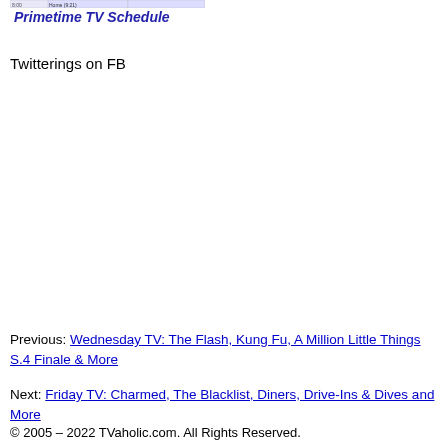[Figure (screenshot): Primetime TV Schedule website header/logo image showing a TV schedule grid with blue text 'Primetime TV Schedule' and schedule rows below]
Twitterings on FB
Previous: Wednesday TV: The Flash, Kung Fu, A Million Little Things S.4 Finale & More
Next: Friday TV: Charmed, The Blacklist, Diners, Drive-Ins & Dives and More
© 2005 – 2022 TVaholic.com. All Rights Reserved.